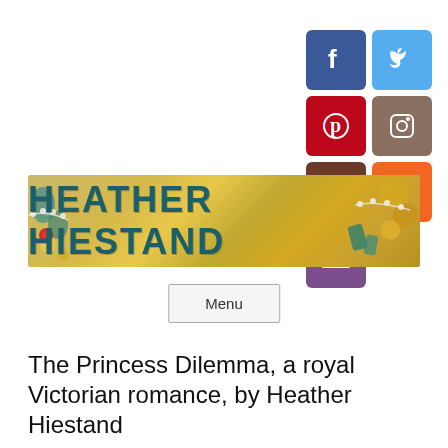[Figure (infographic): Social media icon buttons in a 2-column grid: Facebook (blue), Twitter (light blue), Pinterest (red), Instagram (brown/grey), Goodreads (dark brown), RSS (orange), Email (purple)]
[Figure (illustration): Website banner for Heather Hiestand showing the author name in large teal/dark teal letters on a golden background with jewelry decorations on left and right sides]
Menu
The Princess Dilemma, a royal Victorian romance, by Heather Hiestand